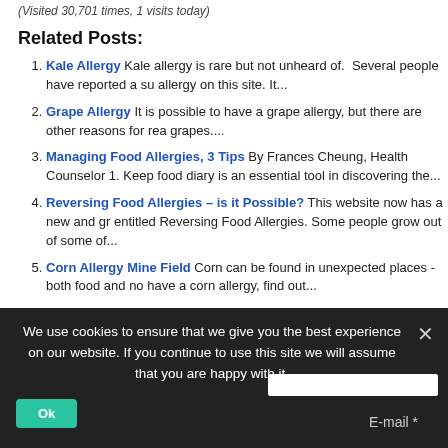(Visited 30,701 times, 1 visits today)
Related Posts:
Kale Allergy Kale allergy is rare but not unheard of. Several people have reported a su allergy on this site. It...
Grape Allergy It is possible to have a grape allergy, but there are other reasons for rea grapes....
Managing Food Allergies, 3 Tips By Frances Cheung, Health Counselor 1. Keep food diary is an essential tool in discovering the...
Reversing Food Allergies – is it Possible? This website now has a new and gr entitled Reversing Food Allergies. Some people grow out of some of...
Corn Allergy Mine Field Corn can be found in unexpected places - both food and no have a corn allergy, find out...
Tagged as: Food Allergy, Greens Allergy
We use cookies to ensure that we give you the best experience on our website. If you continue to use this site we will assume that you are happy with it.